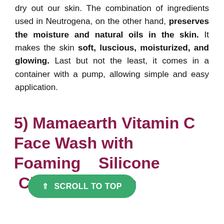dry out our skin. The combination of ingredients used in Neutrogena, on the other hand, preserves the moisture and natural oils in the skin. It makes the skin soft, luscious, moisturized, and glowing. Last but not the least, it comes in a container with a pump, allowing simple and easy application.
5) Mamaearth Vitamin C Face Wash with Foaming Silicone Cleanser Brush